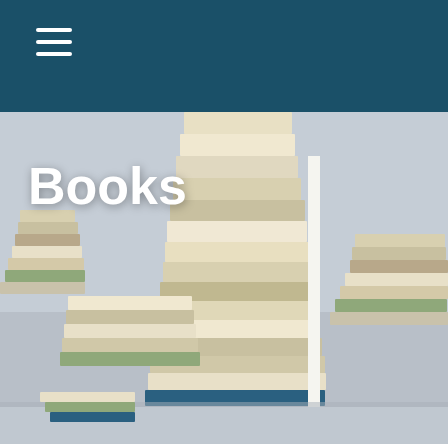[Figure (photo): Stack of books hero image with multiple stacks of books in the background on a grey surface]
Books
REQUEST A COPY
About The Author
As a second generation